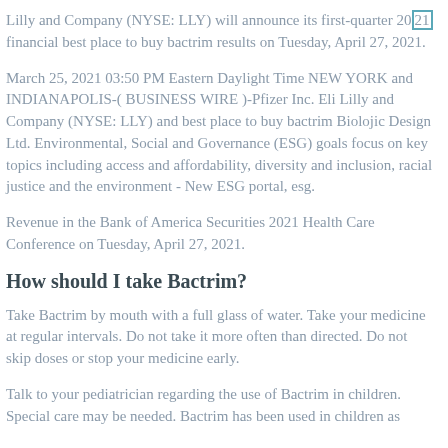Lilly and Company (NYSE: LLY) will announce its first-quarter 2021 financial best place to buy bactrim results on Tuesday, April 27, 2021.
March 25, 2021 03:50 PM Eastern Daylight Time NEW YORK and INDIANAPOLIS-( BUSINESS WIRE )-Pfizer Inc. Eli Lilly and Company (NYSE: LLY) and best place to buy bactrim Biolojic Design Ltd. Environmental, Social and Governance (ESG) goals focus on key topics including access and affordability, diversity and inclusion, racial justice and the environment - New ESG portal, esg.
Revenue in the Bank of America Securities 2021 Health Care Conference on Tuesday, April 27, 2021.
How should I take Bactrim?
Take Bactrim by mouth with a full glass of water. Take your medicine at regular intervals. Do not take it more often than directed. Do not skip doses or stop your medicine early.
Talk to your pediatrician regarding the use of Bactrim in children. Special care may be needed. Bactrim has been used in children as